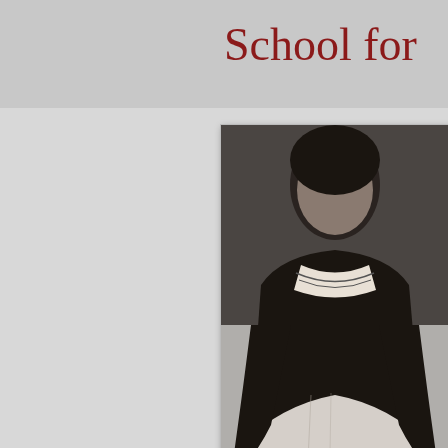School for
[Figure (photo): Black and white photograph of a person, partially cropped, showing upper body with what appears to be a scarf or decorative necklace]
sorts, high and low, rich mouthings, that beneath world." (Nora Stirling,
Pearl was instructed in the primary Confucius p Confucius ideal, rather control. The pragmatism